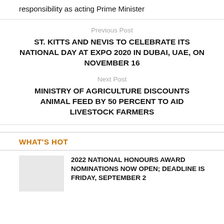responsibility as acting Prime Minister
Previous Post
ST. KITTS AND NEVIS TO CELEBRATE ITS NATIONAL DAY AT EXPO 2020 IN DUBAI, UAE, ON NOVEMBER 16
Next Post
MINISTRY OF AGRICULTURE DISCOUNTS ANIMAL FEED BY 50 PERCENT TO AID LIVESTOCK FARMERS
WHAT'S HOT
2022 NATIONAL HONOURS AWARD NOMINATIONS NOW OPEN; DEADLINE IS FRIDAY, SEPTEMBER 2